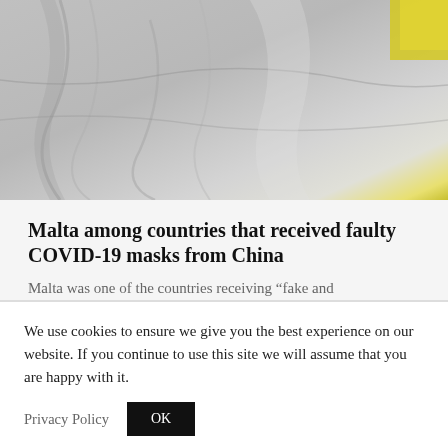[Figure (photo): Close-up photograph of a grey/white fabric face mask, slightly crumpled, with a small yellow element visible in the top-right corner.]
Malta among countries that received faulty COVID-19 masks from China
Malta was one of the countries receiving “fake and
The Shift Team
We use cookies to ensure we give you the best experience on our website. If you continue to use this site we will assume that you are happy with it.
Privacy Policy
OK